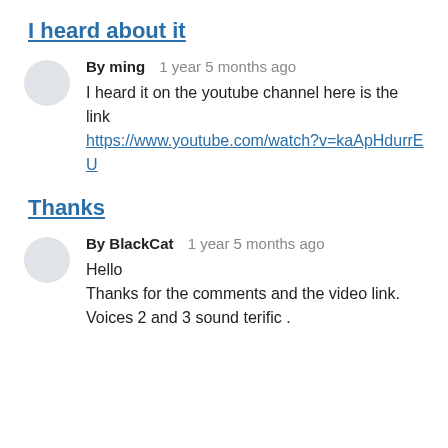I heard about it
By ming   1 year 5 months ago
I heard it on the youtube channel here is the link
https://www.youtube.com/watch?v=kaApHdurrEU
Thanks
By BlackCat   1 year 5 months ago
Hello
Thanks for the comments and the video link.
Voices 2 and 3 sound terific .